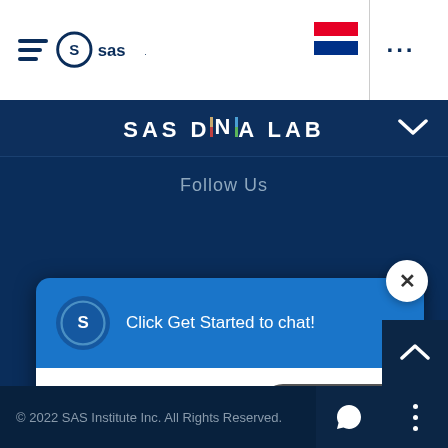[Figure (logo): SAS logo with hamburger menu icon in white navigation bar at top]
[Figure (logo): Dutch flag (red and blue stripes) and three-dot menu in top right nav]
SAS DNA LAB
Follow Us
[Figure (screenshot): Chat popup with SAS logo, 'Click Get Started to chat!' message, close X button, and 'Get Started' button]
© 2022 SAS Institute Inc. All Rights Reserved.